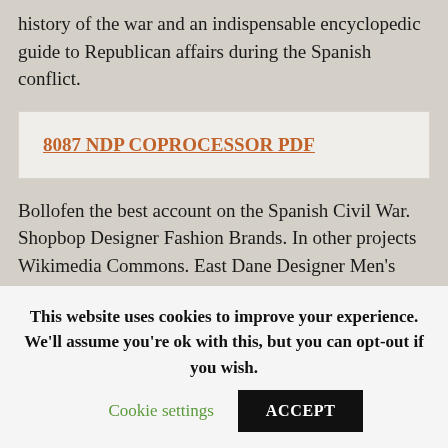history of the war and an indispensable encyclopedic guide to Republican affairs during the Spanish conflict.
8087 NDP COPROCESSOR PDF
Bollofen the best account on the Spanish Civil War. Shopbop Designer Fashion Brands. In other projects Wikimedia Commons. East Dane Designer Men's Fashion. The detail in this book is impeccable, Stalins gold buttons?
This website uses cookies to improve your experience. We'll assume you're ok with this, but you can opt-out if you wish. Cookie settings ACCEPT